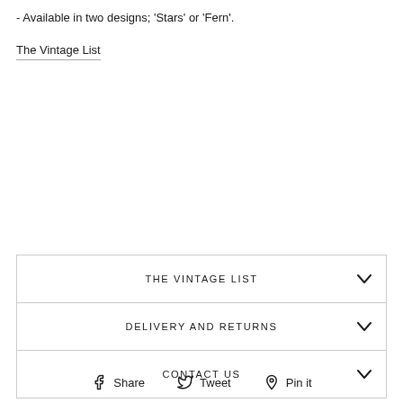- Available in two designs; 'Stars' or 'Fern'.
The Vintage List
THE VINTAGE LIST
DELIVERY AND RETURNS
CONTACT US
Share  Tweet  Pin it